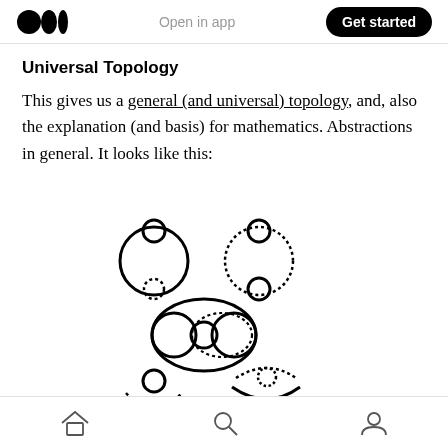Medium logo | Open in app | Get started
Universal Topology
This gives us a general (and universal) topology, and, also the explanation (and basis) for mathematics. Abstractions in general. It looks like this:
[Figure (illustration): Diagram showing abstract topology representations: top row has two circular figures with smaller circles (one solid-outline pair, one dotted-outline pair); middle row has a larger overlapping circles composition mixing solid and dotted outlines; bottom row (partially visible) shows two more circle compositions.]
Home | Search | Profile